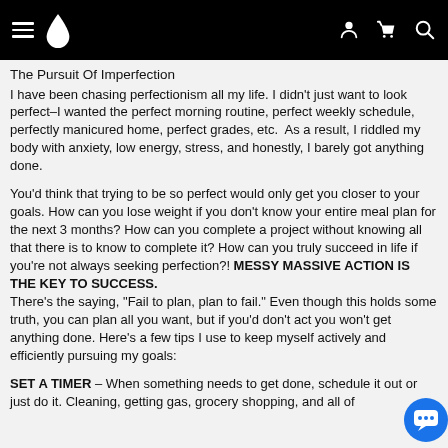Navigation bar with hamburger menu, drop logo, user icon, basket icon, search icon
The Pursuit Of Imperfection
I have been chasing perfectionism all my life. I didn't just want to look perfect–I wanted the perfect morning routine, perfect weekly schedule, perfectly manicured home, perfect grades, etc.  As a result, I riddled my body with anxiety, low energy, stress, and honestly, I barely got anything done.
You'd think that trying to be so perfect would only get you closer to your goals. How can you lose weight if you don't know your entire meal plan for the next 3 months? How can you complete a project without knowing all that there is to know to complete it? How can you truly succeed in life if you're not always seeking perfection?! MESSY MASSIVE ACTION IS THE KEY TO SUCCESS.
There's the saying, "Fail to plan, plan to fail." Even though this holds some truth, you can plan all you want, but if you'd don't act you won't get anything done. Here's a few tips I use to keep myself actively and efficiently pursuing my goals:
SET A TIMER – When something needs to get done, schedule it out or just do it. Cleaning, getting gas, grocery shopping, and all of